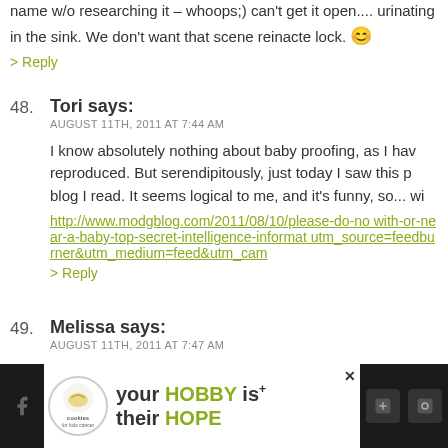name w/o researching it – whoops;) can't get it open....urinating in the sink. We don't want that scene reinacted. lock. 😊
> Reply
48. Tori says:
AUGUST 11TH, 2011 AT 7:44 AM
I know absolutely nothing about baby proofing, as I have reproduced. But serendipitously, just today I saw this p blog I read. It seems logical to me, and it's funny, so... wi http://www.modgblog.com/2011/08/10/please-do-no with-or-near-a-baby-top-secret-intelligence-informat utm_source=feedburner&utm_medium=feed&utm_cam
> Reply
49. Melissa says:
AUGUST 11TH, 2011 AT 7:47 AM
They make things to attach your bookshelves, tvs, etc. t
[Figure (other): Advertisement banner for 'cookies for kids cancer' charity with text 'your HOBBY is their HOPE']